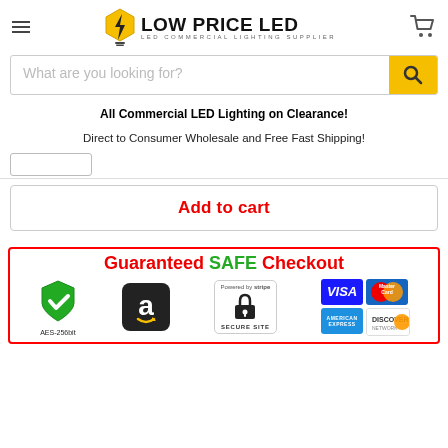[Figure (logo): Low Price LED logo with lightning bolt bulb icon and text 'LOW PRICE LED - LED COMMERCIAL LIGHTING SUPPLIER']
[Figure (screenshot): Search bar with placeholder 'What are you looking for?' and yellow search button]
All Commercial LED Lighting on Clearance!
Direct to Consumer Wholesale and Free Fast Shipping!
[Figure (screenshot): Add to cart button area with red text 'Add to cart']
[Figure (infographic): Guaranteed SAFE Checkout banner with red border showing AES-256bit shield, Amazon Pay, Stripe secure site, Visa, MasterCard, American Express, and Discover payment icons]